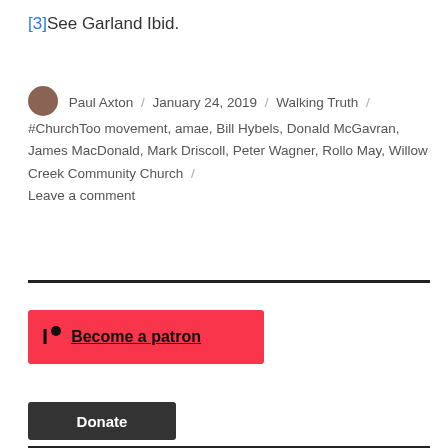[3]See Garland Ibid.
Paul Axton / January 24, 2019 / Walking Truth / #ChurchToo movement, amae, Bill Hybels, Donald McGavran, James MacDonald, Mark Driscoll, Peter Wagner, Rollo May, Willow Creek Community Church / Leave a comment
[Figure (other): Patreon button: red rectangle with Patreon logo and text 'Become a patron']
[Figure (other): Donate button: dark gray rectangle with white bold text 'Donate']